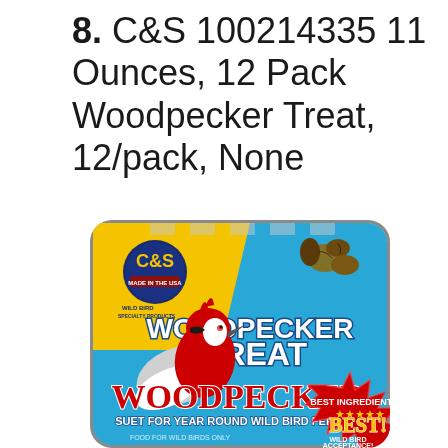8. C&S 100214335 11 Ounces, 12 Pack Woodpecker Treat, 12/pack, None
[Figure (photo): Photo of a C&S Woodpecker Treat suet cake in a metal tray with a colorful product label featuring a cartoon woodpecker bird, blue and yellow background. Label reads 'WOODPECKER TREAT', 'SUET FOR YEAR ROUND WILD BIRD FEEDING', 'BEST INGREDIENTS... BEST! WILD BIRD ACCEPTANCE!', with C&S Wild Bird Specialty Products logo and stars.]